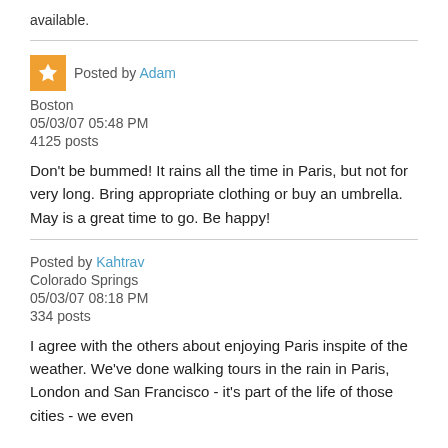available.
Posted by Adam
Boston
05/03/07 05:48 PM
4125 posts
Don't be bummed! It rains all the time in Paris, but not for very long. Bring appropriate clothing or buy an umbrella. May is a great time to go. Be happy!
Posted by Kahtrav
Colorado Springs
05/03/07 08:18 PM
334 posts
I agree with the others about enjoying Paris inspite of the weather. We've done walking tours in the rain in Paris, London and San Francisco - it's part of the life of those cities - we even